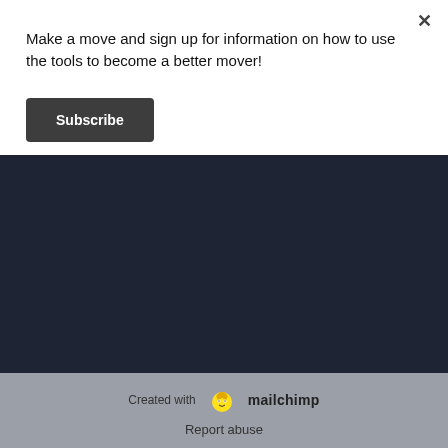Make a move and sign up for information on how to use the tools to become a better mover!
Subscribe
[Figure (other): Dark navy footer section with Facebook and Instagram social media icon circles on the right side]
[Figure (logo): Mailchimp logo with monkey mascot icon and 'mailchimp' text, preceded by 'Created with' label]
Report abuse